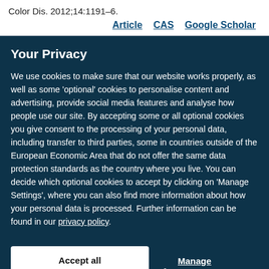Color Dis. 2012;14:1191–6.
Article   CAS   Google Scholar
Your Privacy
We use cookies to make sure that our website works properly, as well as some 'optional' cookies to personalise content and advertising, provide social media features and analyse how people use our site. By accepting some or all optional cookies you give consent to the processing of your personal data, including transfer to third parties, some in countries outside of the European Economic Area that do not offer the same data protection standards as the country where you live. You can decide which optional cookies to accept by clicking on 'Manage Settings', where you can also find more information about how your personal data is processed. Further information can be found in our privacy policy.
Accept all cookies
Manage preferences